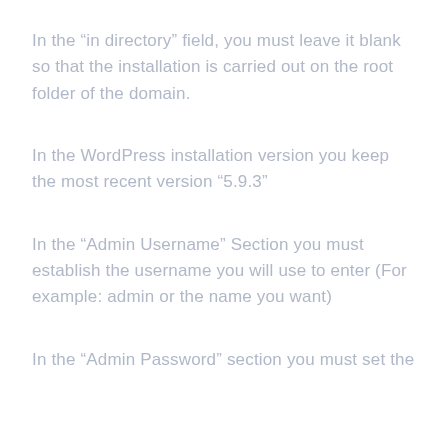In the “in directory” field, you must leave it blank so that the installation is carried out on the root folder of the domain.
In the WordPress installation version you keep the most recent version “5.9.3”
In the “Admin Username” Section you must establish the username you will use to enter (For example: admin or the name you want)
In the “Admin Password” section you must set the